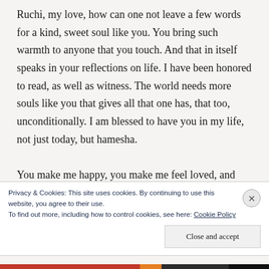Ruchi, my love, how can one not leave a few words for a kind, sweet soul like you. You bring such warmth to anyone that you touch. And that in itself speaks in your reflections on life. I have been honored to read, as well as witness. The world needs more souls like you that gives all that one has, that too, unconditionally. I am blessed to have you in my life, not just today, but hamesha.

You make me happy, you make me feel loved, and that was before I even met you. I will
Privacy & Cookies: This site uses cookies. By continuing to use this website, you agree to their use.
To find out more, including how to control cookies, see here: Cookie Policy
Close and accept